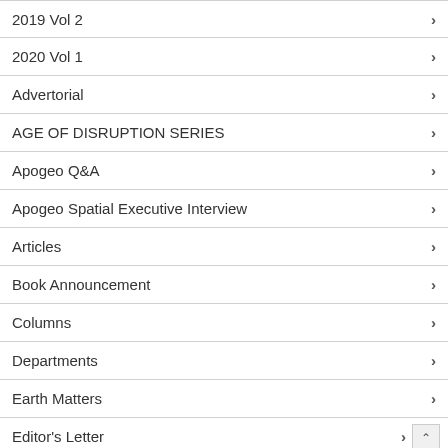2019 Vol 2
2020 Vol 1
Advertorial
AGE OF DISRUPTION SERIES
Apogeo Q&A
Apogeo Spatial Executive Interview
Articles
Book Announcement
Columns
Departments
Earth Matters
Editor's Letter
Executive Interview